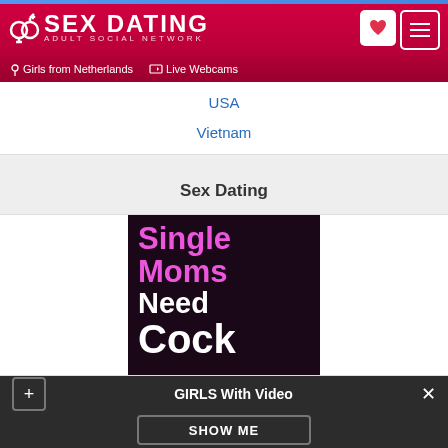[Figure (screenshot): Sex Dating adult social network website header with logo, heart icon, menu icon, Girls from Netherlands and Live Webcams navigation links]
USA
Vietnam
Sex Dating
[Figure (advertisement): Advertisement image on dark background with pink and white bold text]
GIRLS With Video
SHOW ME